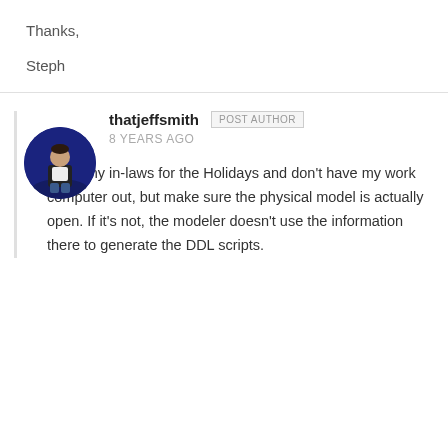Thanks,
Steph
thatjeffsmith   POST AUTHOR
8 YEARS AGO
[Figure (photo): Circular avatar photo of a person standing on a dark blue stage background]
Up at my in-laws for the Holidays and don't have my work computer out, but make sure the physical model is actually open. If it's not, the modeler doesn't use the information there to generate the DDL scripts.